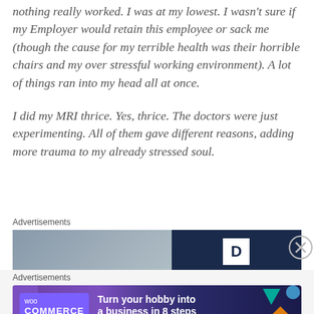nothing really worked. I was at my lowest. I wasn't sure if my Employer would retain this employee or sack me (though the cause for my terrible health was their horrible chairs and my over stressful working environment). A lot of things ran into my head all at once.
I did my MRI thrice. Yes, thrice. The doctors were just experimenting. All of them gave different reasons, adding more trauma to my already stressed soul.
Advertisements
[Figure (photo): Advertisement banner with a blurred photo on the left and a dark navy blue panel with a white 'D' logo on the right]
Advertisements
[Figure (infographic): WooCommerce advertisement banner with purple/dark blue gradient background, teal and orange geometric shapes, WooCommerce logo, and text 'Turn your hobby into a business in 8 steps']